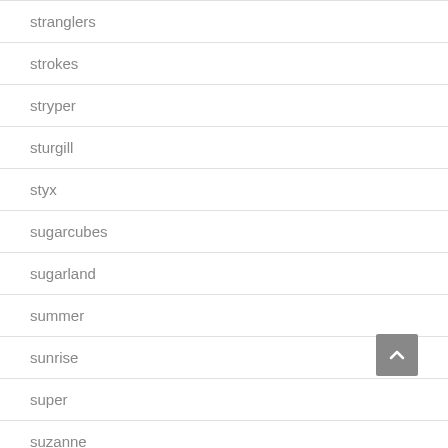stranglers
strokes
stryper
sturgill
styx
sugarcubes
sugarland
summer
sunrise
super
suzanne